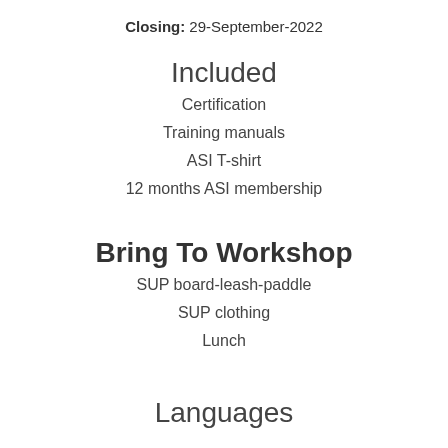Closing: 29-September-2022
Included
Certification
Training manuals
ASI T-shirt
12 months ASI membership
Bring To Workshop
SUP board-leash-paddle
SUP clothing
Lunch
Languages